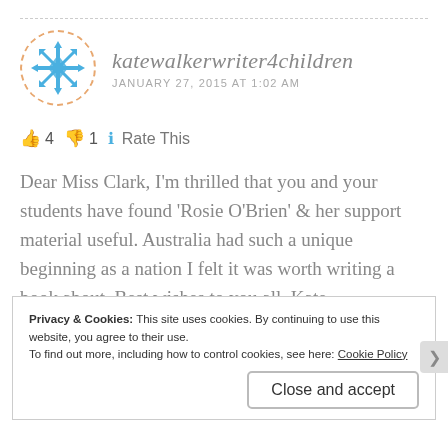katewalkerwriter4children
JANUARY 27, 2015 AT 1:02 AM
👍 4 👎 1 🔵 Rate This
Dear Miss Clark, I'm thrilled that you and your students have found 'Rosie O'Brien' & her support material useful. Australia had such a unique beginning as a nation I felt it was worth writing a book about. Best wishes to you all. Kate
Privacy & Cookies: This site uses cookies. By continuing to use this website, you agree to their use. To find out more, including how to control cookies, see here: Cookie Policy
Close and accept